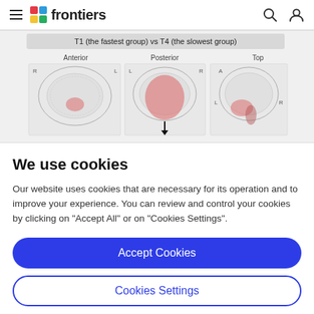frontiers
[Figure (other): Brain scan comparisons: T1 (the fastest group) vs T4 (the slowest group). Three views labeled Anterior, Posterior, and Top showing brain MRI images with highlighted regions in pink/red.]
We use cookies
Our website uses cookies that are necessary for its operation and to improve your experience. You can review and control your cookies by clicking on "Accept All" or on "Cookies Settings".
Accept Cookies
Cookies Settings